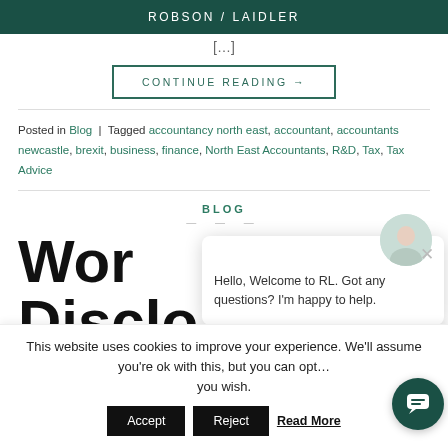ROBSON / LAIDLER
[…]
CONTINUE READING →
Posted in Blog | Tagged accountancy north east, accountant, accountants newcastle, brexit, business, finance, North East Accountants, R&D, Tax, Tax Advice
BLOG
Wor Disclo
[Figure (screenshot): Chat popup with avatar showing 'Hello, Welcome to RL. Got any questions? I'm happy to help.' and a close button]
This website uses cookies to improve your experience. We'll assume you're ok with this, but you can opt… you wish.
Accept
Reject
Read More